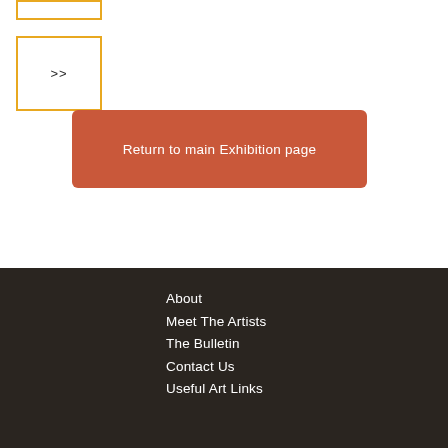[Figure (other): Partial top box with orange/gold border, cropped at top]
[Figure (other): Navigation button with orange/gold border containing >> text]
Return to main Exhibition page
About
Meet The Artists
The Bulletin
Contact Us
Useful Art Links